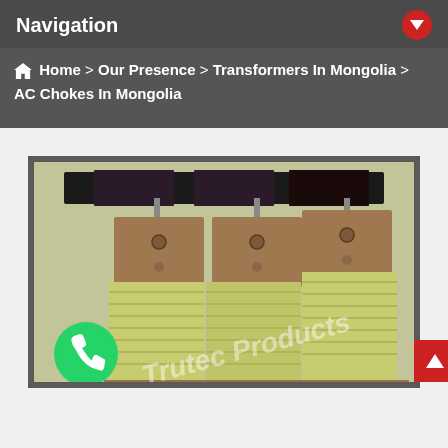Navigation
Home > Our Presence > Transformers In Mongolia > AC Chokes In Mongolia
[Figure (photo): Three-phase AC choke/inductor unit with copper terminal plates and yellow insulation-wrapped coils, watermarked 'Trutec Products']